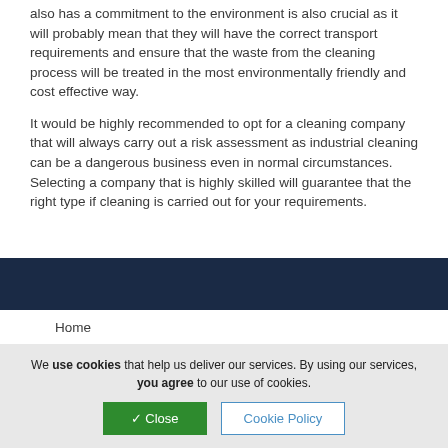also has a commitment to the environment is also crucial as it will probably mean that they will have the correct transport requirements and ensure that the waste from the cleaning process will be treated in the most environmentally friendly and cost effective way.
It would be highly recommended to opt for a cleaning company that will always carry out a risk assessment as industrial cleaning can be a dangerous business even in normal circumstances. Selecting a company that is highly skilled will guarantee that the right type if cleaning is carried out for your requirements.
Home
We use cookies that help us deliver our services. By using our services, you agree to our use of cookies.